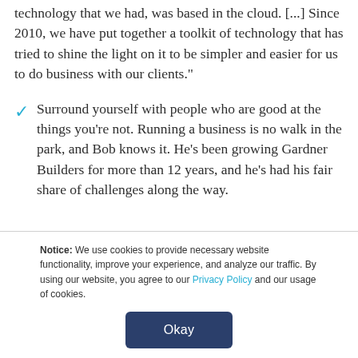technology that we had, was based in the cloud. [...] Since 2010, we have put together a toolkit of technology that has tried to shine the light on it to be simpler and easier for us to do business with our clients."
Surround yourself with people who are good at the things you're not. Running a business is no walk in the park, and Bob knows it. He's been growing Gardner Builders for more than 12 years, and he's had his fair share of challenges along the way.
Notice: We use cookies to provide necessary website functionality, improve your experience, and analyze our traffic. By using our website, you agree to our Privacy Policy and our usage of cookies.